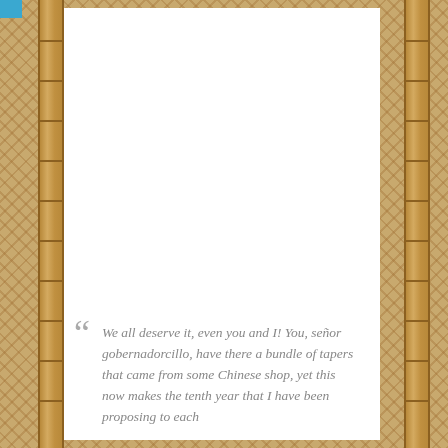[Figure (illustration): Book page layout with bamboo pole borders on left and right sides, woven tan/brown background pattern on outer edges, white page content area in center, small blue tab at top-left corner.]
“We all deserve it, even you and I! You, señor gobernadorcillo, have there a bundle of tapers that came from some Chinese shop, yet this now makes the tenth year that I have been proposing to each